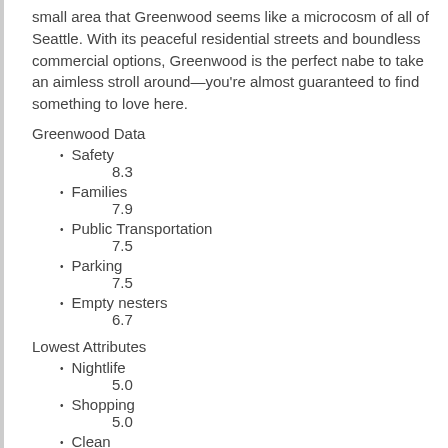small area that Greenwood seems like a microcosm of all of Seattle. With its peaceful residential streets and boundless commercial options, Greenwood is the perfect nabe to take an aimless stroll around—you're almost guaranteed to find something to love here.
Greenwood Data
Safety
8.3
Families
7.9
Public Transportation
7.5
Parking
7.5
Empty nesters
6.7
Lowest Attributes
Nightlife
5.0
Shopping
5.0
Clean
5.0
Singles